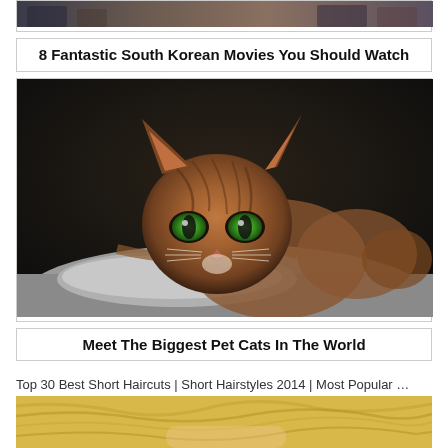[Figure (photo): Partial top image showing movie scene thumbnail, cropped at top]
8 Fantastic South Korean Movies You Should Watch
[Figure (photo): Large close-up photo of a big cat (likely Oriental or Savannah cat) with green eyes, resting chin on a gray surface, dark background]
Meet The Biggest Pet Cats In The World
Top 30 Best Short Haircuts | Short Hairstyles 2014 | Most Popular …
[Figure (photo): Partial bottom image showing a person with short blonde hair, cropped at bottom]